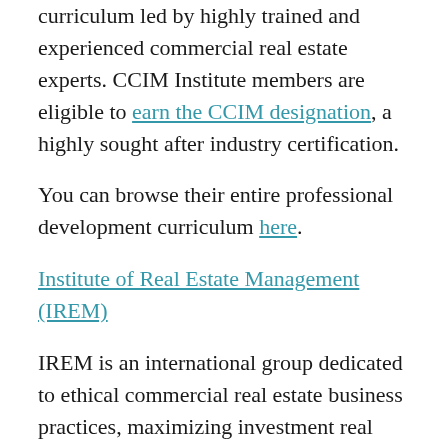curriculum led by highly trained and experienced commercial real estate experts. CCIM Institute members are eligible to earn the CCIM designation, a highly sought after industry certification.
You can browse their entire professional development curriculum here.
Institute of Real Estate Management (IREM)
IREM is an international group dedicated to ethical commercial real estate business practices, maximizing investment real estate value and promoting superior management through education. IREM is affiliated with the National Association of REALTORS.
IREM offers a variety of professional development